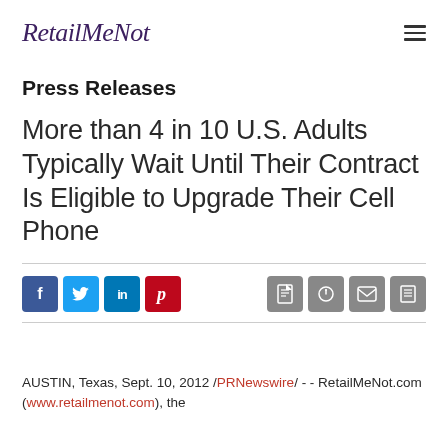RetailMeNot
Press Releases
More than 4 in 10 U.S. Adults Typically Wait Until Their Contract Is Eligible to Upgrade Their Cell Phone
[Figure (infographic): Social sharing buttons: Facebook, Twitter, LinkedIn, Pinterest on left; PDF, RSS, email, print icons on right]
AUSTIN, Texas, Sept. 10, 2012 / PRNewswire / - - RetailMeNot.com (www.retailmenot.com), the